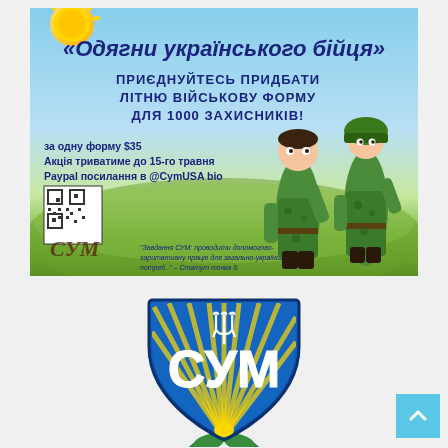[Figure (illustration): Ukrainian military fundraiser poster. Sky and sunflower field background with cartoon soldier characters. Title reads «Одягни українського бійця» (Dress the Ukrainian fighter). Subtitle: ПРИЄДНУЙТЕСЬ ПРИДБАТИ ЛІТНЮ ВІЙСЬКОВУ ФОРМУ ДЛЯ 1000 ЗАХИСНИКІВ! (Join to buy summer military uniforms for 1000 defenders!). Price: за одну форму $35. Campaign until May 15. PayPal link in @CymUSA bio. QR code shown. CYM/СУМ logo with tagline about charitable mission.]
[Figure (logo): СУМ (SUM/CYM) Ukrainian Youth Organization shield logo. Blue and yellow shield with radiating stripes, СУМ letters in white, trident symbol, green oak leaf wreath at bottom.]